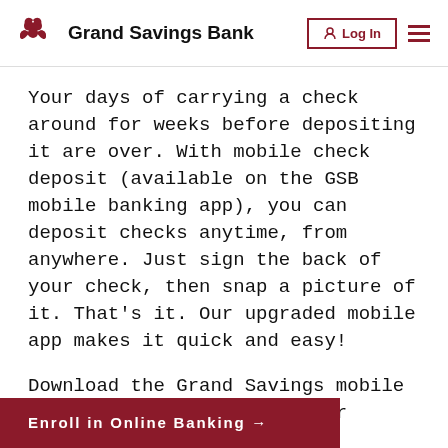Grand Savings Bank — Log In
Your days of carrying a check around for weeks before depositing it are over. With mobile check deposit (available on the GSB mobile banking app), you can deposit checks anytime, from anywhere. Just sign the back of your check, then snap a picture of it. That’s it. Our upgraded mobile app makes it quick and easy!
Download the Grand Savings mobile banking app today for iOS or Android.
Enroll in Online Banking →